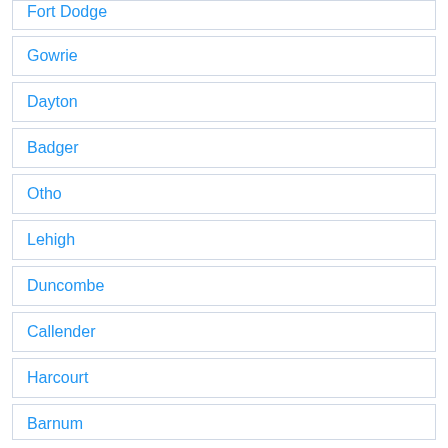Fort Dodge
Gowrie
Dayton
Badger
Otho
Lehigh
Duncombe
Callender
Harcourt
Barnum